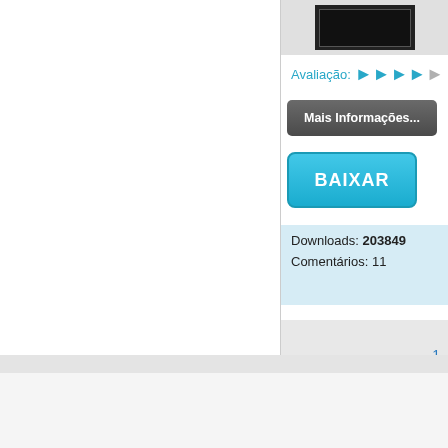[Figure (screenshot): Small dark movie thumbnail/poster image in gray bar]
Avaliação: ▶▶▶▶▶
Mais Informações...
BAIXAR
Downloads: 203849
Comentários: 11
1
[Figure (logo): BS.player logo in footer]
Publicidade | Politica de Privacidade | Últimas Noticias | Affiliate | Mapa do Site | Entre em
Български | Deutsch | English | Español | Magyar | Polski | Português brasileiro | Român